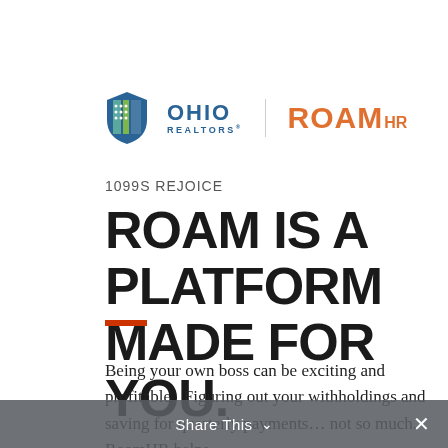[Figure (logo): Ohio Realtors shield logo combined with RoamHR logo, separated by a vertical divider line]
1099S REJOICE
ROAM IS A PLATFORM MADE FOR YOU.
Being your own boss can be exciting and profitable.  Figuring out your withholdings and saving for quarterly payments... not so much.  RoamHR helps
Share This ∨  ×